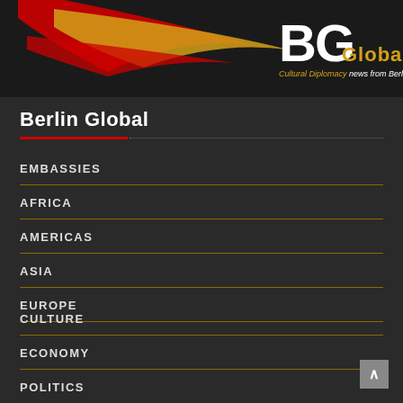[Figure (logo): Berlin Global logo with red and gold swoosh graphic on dark background, 'BG' in large white text, 'Global' in gold, tagline 'Cultural Diplomacy news from Berlin' in italic]
Berlin Global
EMBASSIES
AFRICA
AMERICAS
ASIA
EUROPE
CULTURE
ECONOMY
POLITICS
TOURISM